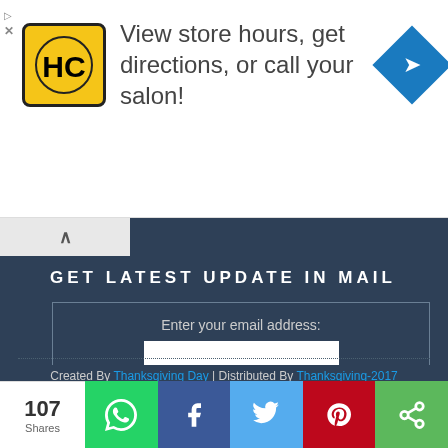[Figure (infographic): Advertisement banner: HC logo on yellow background, text 'View store hours, get directions, or call your salon!', blue diamond navigation icon on right]
GET LATEST UPDATE IN MAIL
Enter your email address:
[email input]
Subscribe
Delivered by FeedBurner
Created By Thanksgiving Day | Distributed By Thanksgiving-2017
[Figure (infographic): Social media icon buttons: Twitter, Facebook, Instagram, RSS, Email, YouTube, Pinterest — all circular blue buttons]
107 Shares
[Figure (infographic): Share bar with WhatsApp (green), Facebook (dark blue), Twitter (light blue), Pinterest (red), and More (green) buttons]